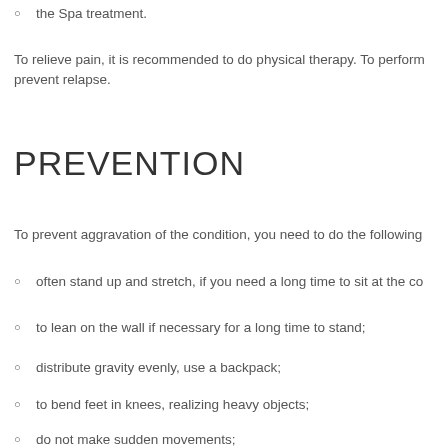the Spa treatment.
To relieve pain, it is recommended to do physical therapy. To perform prevent relapse.
PREVENTION
To prevent aggravation of the condition, you need to do the following
often stand up and stretch, if you need a long time to sit at the co
to lean on the wall if necessary for a long time to stand;
distribute gravity evenly, use a backpack;
to bend feet in knees, realizing heavy objects;
do not make sudden movements;